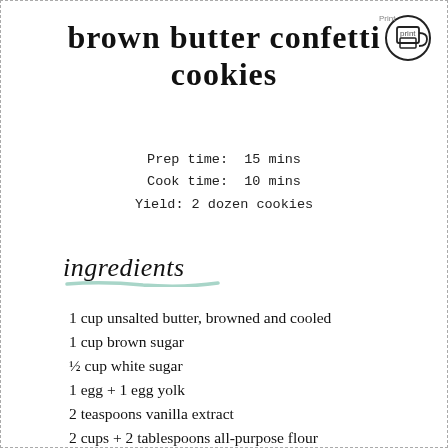brown butter confetti cookies
Prep time: 15 mins
Cook time: 10 mins
Yield: 2 dozen cookies
ingredients
1 cup unsalted butter, browned and cooled
1 cup brown sugar
½ cup white sugar
1 egg + 1 egg yolk
2 teaspoons vanilla extract
2 cups + 2 tablespoons all-purpose flour
1 teaspoon baking soda
1 teaspoon salt
1½ cups mini M&Ms
¼ cup rainbow sprinkles